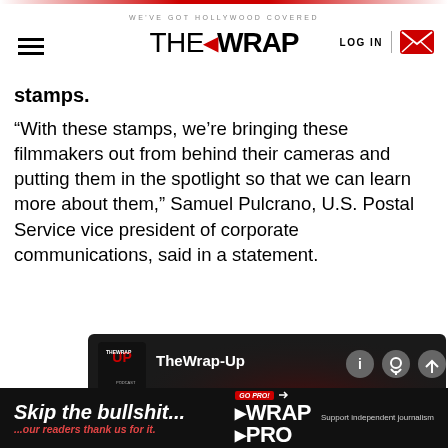WE'VE GOT HOLLYWOOD COVERED | THE WRAP | LOG IN
stamps.
“With these stamps, we’re bringing these filmmakers out from behind their cameras and putting them in the spotlight so that we can learn more about them,” Samuel Pulcrano, U.S. Postal Service vice president of corporate communications, said in a statement.
[Figure (screenshot): TheWrap-Up podcast audio player showing play button, time 00:00 / 35:56, with podcast logo and control icons]
Skip the bullshit... ...our readers thank us for it. Go Pro! WRAP PRO Support independent journalism